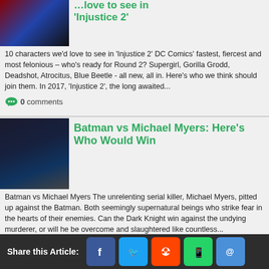[Figure (photo): Thumbnail image of superheroes from Injustice 2]
10 characters we'd love to see in 'Injustice 2'
10 characters we'd love to see in ‘Injustice 2’ DC Comics’ fastest, fiercest and most felonious – who's ready for Round 2? Supergirl, Gorilla Grodd, Deadshot, Atrocitus, Blue Beetle - all new, all in. Here's who we think should join them. In 2017, ‘Injustice 2’, the long awaited...
0 comments
[Figure (photo): Thumbnail image of Batman vs Michael Myers]
Batman vs Michael Myers: Here's Who Would Win
Batman vs Michael Myers The unrelenting serial killer, Michael Myers, pitted up against the Batman. Both seemingly supernatural beings who strike fear in the hearts of their enemies. Can the Dark Knight win against the undying murderer, or will he be overcome and slaughtered like countless...
0 comments
[Figure (photo): Partial thumbnail of next article]
Top 10 Most Awesome
Share this Article: